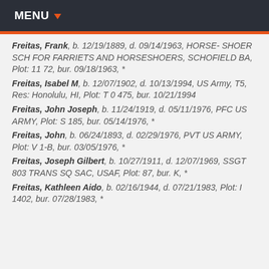MENU
Freitas, Frank, b. 12/19/1889, d. 09/14/1963, HORSE- SHOER SCH FOR FARRIETS AND HORSESHOERS, SCHOFIELD BA, Plot: 11 72, bur. 09/18/1963, *
Freitas, Isabel M, b. 12/07/1902, d. 10/13/1994, US Army, T5, Res: Honolulu, HI, Plot: T 0 475, bur. 10/21/1994
Freitas, John Joseph, b. 11/24/1919, d. 05/11/1976, PFC US ARMY, Plot: S 185, bur. 05/14/1976, *
Freitas, John, b. 06/24/1893, d. 02/29/1976, PVT US ARMY, Plot: V 1-B, bur. 03/05/1976, *
Freitas, Joseph Gilbert, b. 10/27/1911, d. 12/07/1969, SSGT 803 TRANS SQ SAC, USAF, Plot: 87, bur. K, *
Freitas, Kathleen Aido, b. 02/16/1944, d. 07/21/1983, Plot: I 1402, bur. 07/28/1983, *